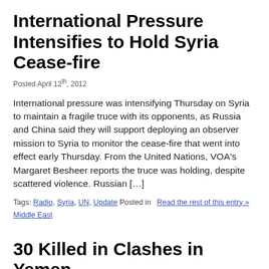International Pressure Intensifies to Hold Syria Cease-fire
Posted April 12th, 2012
International pressure was intensifying Thursday on Syria to maintain a fragile truce with its opponents, as Russia and China said they will support deploying an observer mission to Syria to monitor the cease-fire that went into effect early Thursday. From the United Nations, VOA's Margaret Besheer reports the truce was holding, despite scattered violence. Russian […]
Tags: Radio, Syria, UN, Update Posted in Middle East  Read the rest of this entry »
30 Killed in Clashes in Yemen